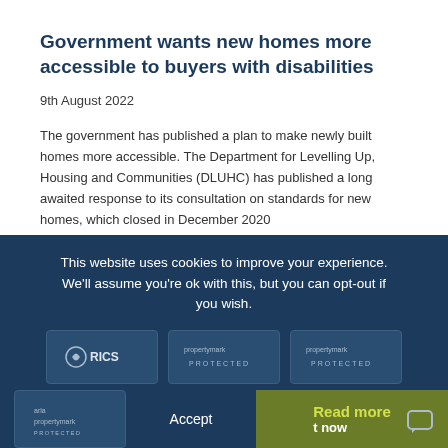Government wants new homes more accessible to buyers with disabilities
9th August 2022
The government has published a plan to make newly built homes more accessible. The Department for Levelling Up, Housing and Communities (DLUHC) has published a long awaited response to its consultation on standards for new homes, which closed in December 2020
This website uses cookies to improve your experience. We'll assume you're ok with this, but you can opt-out if you wish.
[Figure (logo): RICS logo badge]
[Figure (logo): Propertymark Protected badge]
[Figure (logo): Propertymark Protected badge]
Accept
Read more
[Figure (logo): Arla propertymark PROTECTED badge]
t now